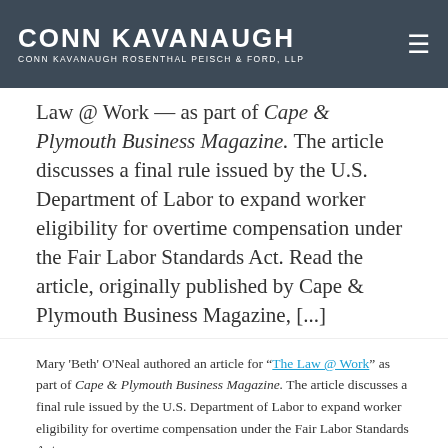CONN KAVANAUGH | Conn Kavanaugh Rosenthal Peisch & Ford, LLP
Law @ Work — as part of Cape & Plymouth Business Magazine. The article discusses a final rule issued by the U.S. Department of Labor to expand worker eligibility for overtime compensation under the Fair Labor Standards Act. Read the article, originally published by Cape & Plymouth Business Magazine, [...]
Mary 'Beth' O'Neal authored an article for "The Law @ Work" as part of Cape & Plymouth Business Magazine. The article discusses a final rule issued by the U.S. Department of Labor to expand worker eligibility for overtime compensation under the Fair Labor Standards Act.
Read the article, originally published by Cape & Plymouth